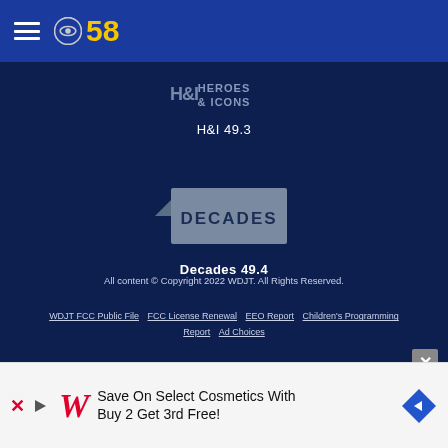CBS 58
[Figure (logo): H&I Heroes & Icons network logo in gray/white on dark blue background]
H&I 49.3
[Figure (logo): Decades network logo — gray rectangle with arrow shape and white bold DECADES text]
Decades 49.4
All content © Copyright 2022 WDJT. All Rights Reserved.
WDJT FCC Public File  FCC License Renewal  EEO Report  Children's Programming Report  Ad Choices
[Figure (infographic): Advertisement banner: Save On Select Cosmetics With Buy 2 Get 3rd Free! featuring Walgreens logo]